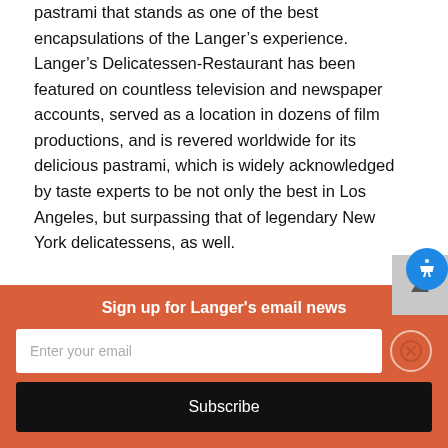pastrami that stands as one of the best encapsulations of the Langer’s experience. Langer’s Delicatessen-Restaurant has been featured on countless television and newspaper accounts, served as a location in dozens of film productions, and is revered worldwide for its delicious pastrami, which is widely acknowledged by taste experts to be not only the best in Los Angeles, but surpassing that of legendary New York delicatessens, as well.
Norm owns and manages the restaurant with his wife, Jeannette. Al passed away shortly after the 60th
Sign up for Langer's email news
Enter your email
Subscribe